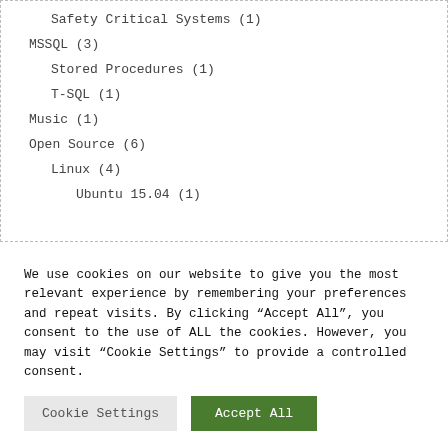Safety Critical Systems (1)
MSSQL (3)
Stored Procedures (1)
T-SQL (1)
Music (1)
Open Source (6)
Linux (4)
Ubuntu 15.04 (1)
We use cookies on our website to give you the most relevant experience by remembering your preferences and repeat visits. By clicking “Accept All”, you consent to the use of ALL the cookies. However, you may visit “Cookie Settings” to provide a controlled consent.
Cookie Settings | Accept All